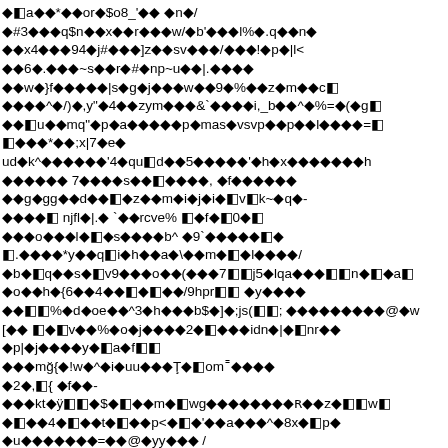◆a◆◆*◆or◆$o8_'◆◆ ◆n◆/
◆#3◆◆◆q$n◆◆x◆◆r◆◆◆w/◆b'◆◆◆l%◆.q◆◆n◆
◆◆x4◆◆◆94◆j#◆◆◆]z◆◆sv◆◆◆/◆◆◆!◆p◆|l<
◆◆6◆.◆◆◆~s◆◆r◆#◆np~u◆◆|.◆◆◆◆
◆◆w◆}f◆◆◆◆◆|s◆g◆j◆◆◆w◆◆9◆%◆◆z◆m◆◆c◆
◆◆◆◆^◆/)◆,y"◆4◆◆zym◆◆◆&`◆◆◆◆i,_b◆◆^◆%=◆(◆g◆
◆◆◆u◆◆mq"◆p◆a◆◆◆◆◆p◆mas◆vsvp◆◆p◆◆l◆◆◆◆=◆
◆◆◆◆*◆◆;x|7◆e◆
ud◆k^◆◆◆◆◆◆'4◆qu◆d◆◆5◆◆◆◆◆'◆h◆x◆◆◆◆◆◆◆h
◆◆◆◆◆◆ 7◆◆◆◆s◆◆◆◆◆◆, ◆f◆◆◆◆◆◆
◆◆g◆gg◆◆d◆◆◆◆z◆◆m◆i◆j◆i◆◆v◆k~◆q◆-
◆◆◆◆◆ njfl◆|.◆ `◆◆rcve% ◆◆f◆◆0◆◆
◆◆◆o◆◆◆l◆◆◆s◆◆◆◆b^ ◆9`◆◆◆◆◆◆◆
◆.◆◆◆◆*y◆◆q◆i◆h◆◆a◆\◆◆m◆◆◆l◆◆◆◆/
◆b◆◆q◆◆s◆◆v9◆◆◆o◆◆(◆◆◆7◆◆j5◆lqa◆◆◆◆◆◆n◆◆◆a◆
◆o◆◆h◆{6◆◆4◆◆◆◆◆◆/9hpr◆◆ ◆y◆◆◆◆
◆◆◆◆%◆d◆oe◆◆^3◆h◆◆◆b$◆]◆;js(◆◆; ◆◆◆◆◆◆◆◆◆@◆w
[◆◆ ◆◆◆v◆◆%◆o◆j◆◆◆◆2◆◆◆◆◆idn◆|◆◆nr◆◆
◆p|◆j◆◆◆◆y◆◆a◆f◆◆
◆◆◆mğ{◆!w◆^◆i◆uu◆◆◆Ţ◆◆om◆◆◆◆◆
◆2◆,◆{ ◆f◆◆-
◆◆◆kt◆ÿ◆◆◆$◆◆◆◆m◆◆wg◆◆◆◆◆◆◆◆ʁ◆◆z◆◆◆w◆
◆◆◆◆4◆◆◆◆t◆◆◆◆p<◆◆◆'◆◆a◆◆◆^◆8x◆◆p◆
◆u◆◆◆◆◆◆◆=◆◆@◆yy◆◆◆ /